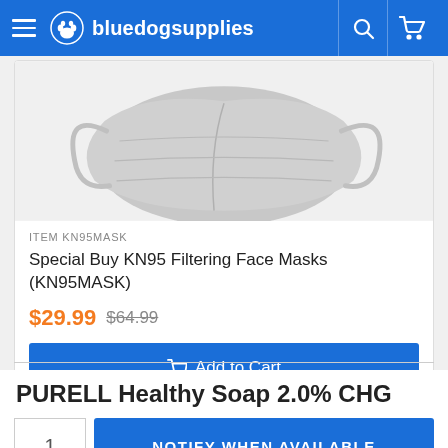bluedogsupplies
[Figure (photo): KN95 filtering face mask in gray color with ear loops, shown at an angle on white background]
ITEM KN95MASK
Special Buy KN95 Filtering Face Masks (KN95MASK)
$29.99  $64.99
Add to Cart
PURELL Healthy Soap 2.0% CHG
1
NOTIFY WHEN AVAILABLE